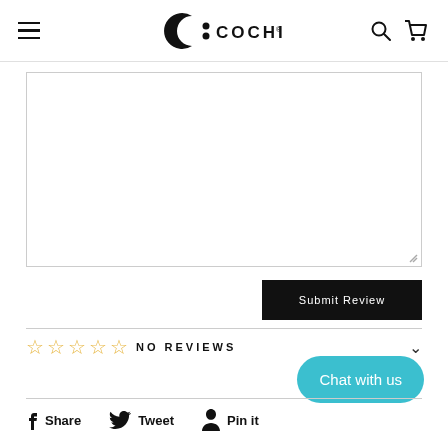COCHIC
[Figure (screenshot): Empty textarea / review text input box with resize handle]
Submit Review
☆☆☆☆☆ NO REVIEWS
Chat with us
Share  Tweet  Pin it